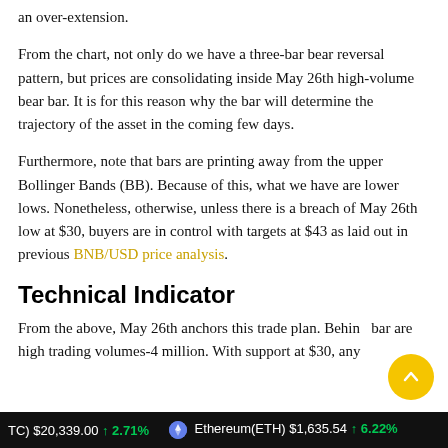an over-extension.
From the chart, not only do we have a three-bar bear reversal pattern, but prices are consolidating inside May 26th high-volume bear bar. It is for this reason why the bar will determine the trajectory of the asset in the coming few days.
Furthermore, note that bars are printing away from the upper Bollinger Bands (BB). Because of this, what we have are lower lows. Nonetheless, otherwise, unless there is a breach of May 26th low at $30, buyers are in control with targets at $43 as laid out in previous BNB/USD price analysis.
Technical Indicator
From the above, May 26th anchors this trade plan. Behind bar are high trading volumes-4 million. With support at $30, any
BTC $20,339.00 ↑ 2.71%   Ethereum(ETH) $1,635.54 ↑ 6.22%